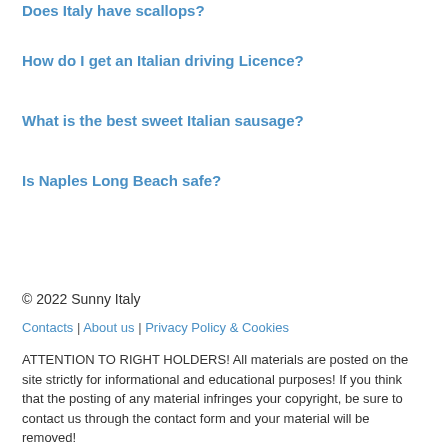Does Italy have scallops?
How do I get an Italian driving Licence?
What is the best sweet Italian sausage?
Is Naples Long Beach safe?
© 2022 Sunny Italy
Contacts | About us | Privacy Policy & Cookies
ATTENTION TO RIGHT HOLDERS! All materials are posted on the site strictly for informational and educational purposes! If you think that the posting of any material infringes your copyright, be sure to contact us through the contact form and your material will be removed!